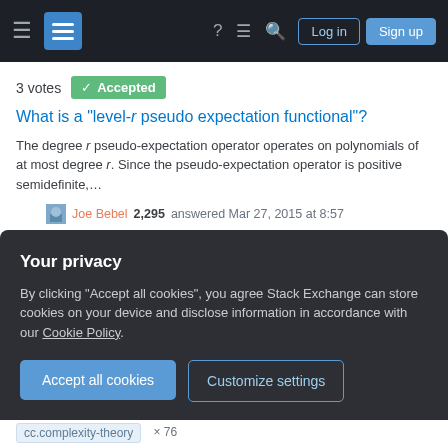Stack Exchange navigation bar with hamburger menu, logo, help, chat, search icons, Log in and Sign up buttons
3 votes  Accepted
What is a "level-r pseudo expectation functional"?
The degree r pseudo-expectation operator operates on polynomials of at most degree r. Since the pseudo-expectation operator is positive semidefinite,…
Joe Bebel 2,295 answered Mar 27, 2015 at 8:57
Only top scored, non community-wiki answers of a minimum length are eligible
185
questions tagged
Your privacy
By clicking "Accept all cookies", you agree Stack Exchange can store cookies on your device and disclose information in accordance with our Cookie Policy.
Accept all cookies
Customize settings
cc.complexity-theory  × 76